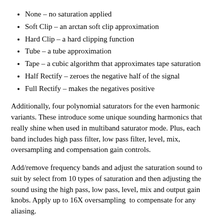None – no saturation applied
Soft Clip – an arctan soft clip approximation
Hard Clip – a hard clipping function
Tube – a tube approximation
Tape – a cubic algorithm that approximates tape saturation
Half Rectify – zeroes the negative half of the signal
Full Rectify – makes the negatives positive
Additionally, four polynomial saturators for the even harmonic variants. These introduce some unique sounding harmonics that really shine when used in multiband saturator mode. Plus, each band includes high pass filter, low pass filter, level, mix, oversampling and compensation gain controls.
Add/remove frequency bands and adjust the saturation sound to suit by select from 10 types of saturation and then adjusting the sound using the high pass, low pass, level, mix and output gain knobs. Apply up to 16X oversampling  to compensate for any aliasing.
Moreover, Solo or deactivate each band to hear the differences and sculpt your own sound. Additionally, change the frequency cutoffs by using the visual display. Additionally, adjust the output gain in the visual display.
Adjust the frequency bands and band output gain in the visual